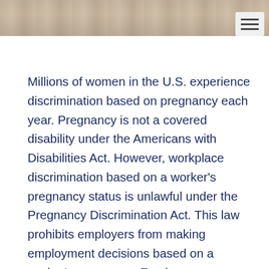[Figure (photo): Partial view of a photo at the top of the page, showing what appears to be a person in a yellow top near a desk or table surface.]
Millions of women in the U.S. experience discrimination based on pregnancy each year. Pregnancy is not a covered disability under the Americans with Disabilities Act. However, workplace discrimination based on a worker's pregnancy status is unlawful under the Pregnancy Discrimination Act. This law prohibits employers from making employment decisions based on a worker's pregnancy. Employers are required to treat workers who are temporarily unable to perform their jobs because of pregnancy in the same way that they treat other workers who are temporarily